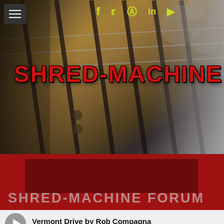≡ f 🐦 📷 in ▶
[Figure (photo): Close-up photo of a guitar fretboard (neck) with strings running diagonally across the frame, maple wood fretboard with dark fret markers, blurred bokeh background on right side.]
SHRED-MACHINE
SHRED-MACHINE FORUM
Vermont Drive by Rob Compagna